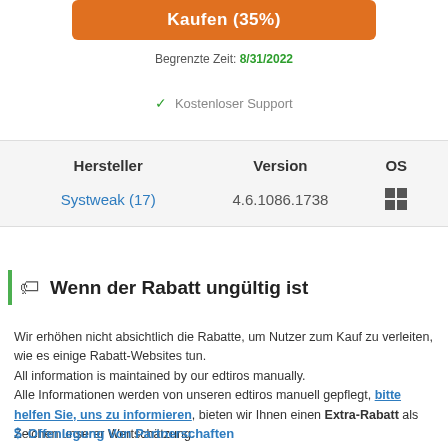[Figure (other): Orange button with partially visible text containing percentage discount]
Begrenzte Zeit: 8/31/2022
✓ Kostenloser Support
| Hersteller | Version | OS |
| --- | --- | --- |
| Systweak (17) | 4.6.1086.1738 | [Windows icon] |
Wenn der Rabatt ungültig ist
Wir erhöhen nicht absichtlich die Rabatte, um Nutzer zum Kauf zu verleiten, wie es einige Rabatt-Websites tun.
All information is maintained by our edtiros manually.
Alle Informationen werden von unseren edtiros manuell gepflegt, bitte helfen Sie, uns zu informieren, bieten wir Ihnen einen Extra-Rabatt als Zeichen unserer Wertschätzung.
$ Offenlegung Von Partnerschaften